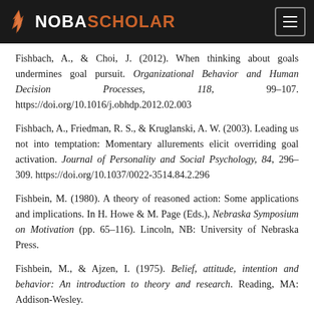NOBASCHOLAR
Fishbach, A., & Choi, J. (2012). When thinking about goals undermines goal pursuit. Organizational Behavior and Human Decision Processes, 118, 99–107. https://doi.org/10.1016/j.obhdp.2012.02.003
Fishbach, A., Friedman, R. S., & Kruglanski, A. W. (2003). Leading us not into temptation: Momentary allurements elicit overriding goal activation. Journal of Personality and Social Psychology, 84, 296–309. https://doi.org/10.1037/0022-3514.84.2.296
Fishbein, M. (1980). A theory of reasoned action: Some applications and implications. In H. Howe & M. Page (Eds.), Nebraska Symposium on Motivation (pp. 65–116). Lincoln, NB: University of Nebraska Press.
Fishbein, M., & Ajzen, I. (1975). Belief, attitude, intention and behavior: An introduction to theory and research. Reading, MA: Addison-Wesley.
Flett, G. L., Stainton, M., Hewitt, P. L., Sherry, S. B., & Lay, C. (2012).